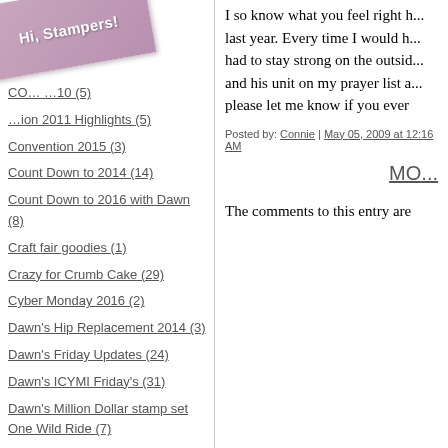[Figure (illustration): Decorative ribbon banner with text 'Hi, Stampers!' overlaid on the top-left of the navigation sidebar]
CO... ...10 (5)
...ion 2011 Highlights (5)
Convention 2015 (3)
Count Down to 2014 (14)
Count Down to 2016 with Dawn (8)
Craft fair goodies (1)
Crazy for Crumb Cake (29)
Cyber Monday 2016 (2)
Dawn's Hip Replacement 2014 (3)
Dawn's Friday Updates (24)
Dawn's ICYMI Friday's (31)
Dawn's Million Dollar stamp set One Wild Ride (7)
Dawn's Quick Tip Videos (30)
I so know what you feel right h... last year. Every time I would h... had to stay strong on the outsid... and his unit on my prayer list a... please let me know if you ever
Posted by: Connie | May 05, 2009 at 12:16 AM
MO...
The comments to this entry are